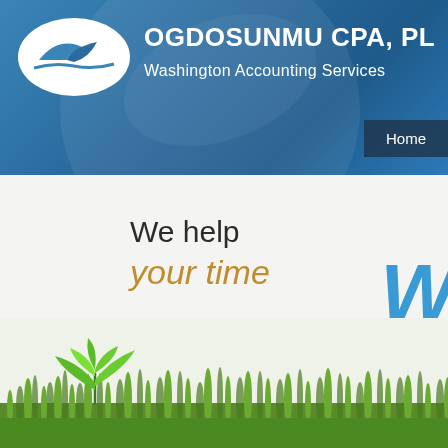[Figure (logo): Ogdosunmu CPA, PLC logo - white oval with blue bird/wave graphic]
OGDOSUNMU CPA, PL
Washington Accounting Services
Home
We help your time W for Mon
[Figure (photo): Green grass field with a small seedling/plant in the foreground, bottom of page]